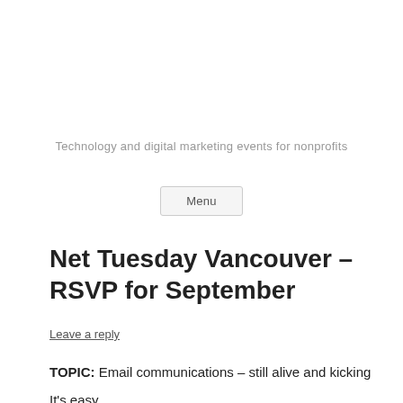Technology and digital marketing events for nonprofits
Menu
Net Tuesday Vancouver – RSVP for September
Leave a reply
TOPIC: Email communications – still alive and kicking
It's easy